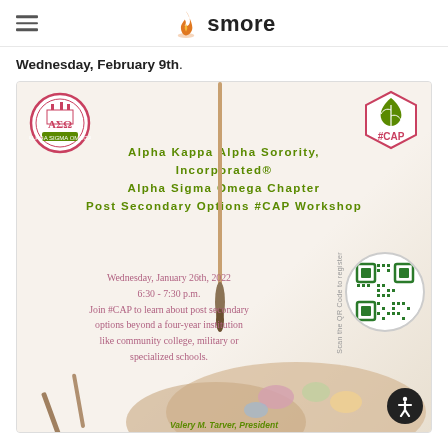smore
Wednesday, February 9th.
[Figure (infographic): Alpha Kappa Alpha Sorority, Incorporated® Alpha Sigma Omega Chapter Post Secondary Options #CAP Workshop flyer. Wednesday, January 26th, 2022 6:30 - 7:30 p.m. Join #CAP to learn about post secondary options beyond a four-year institution like community college, military or specialized schools. Features AΣΩ badge top-left, #CAP badge top-right, QR code, and a painted palette photo background. Footer: Valery M. Tarver, President]